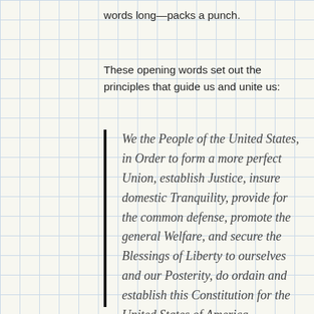words long—packs a punch.
These opening words set out the principles that guide us and unite us:
We the People of the United States, in Order to form a more perfect Union, establish Justice, insure domestic Tranquility, provide for the common defense, promote the general Welfare, and secure the Blessings of Liberty to ourselves and our Posterity, do ordain and establish this Constitution for the United States of America.